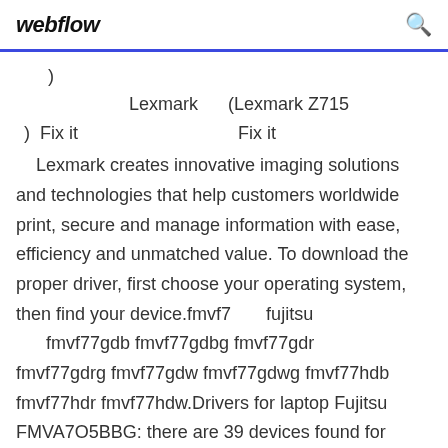webflow
)
Lexmark    (Lexmark Z715
)  Fix it                    Fix it
Lexmark creates innovative imaging solutions and technologies that help customers worldwide print, secure and manage information with ease, efficiency and unmatched value. To download the proper driver, first choose your operating system, then find your device.fmvf7      fujitsu
      fmvf77gdb fmvf77gdbg fmvf77gdr fmvf77gdrg fmvf77gdw fmvf77gdwg fmvf77hdb fmvf77hdr fmvf77hdw.Drivers for laptop Fujitsu FMVA7O5BBG: there are 39 devices found for